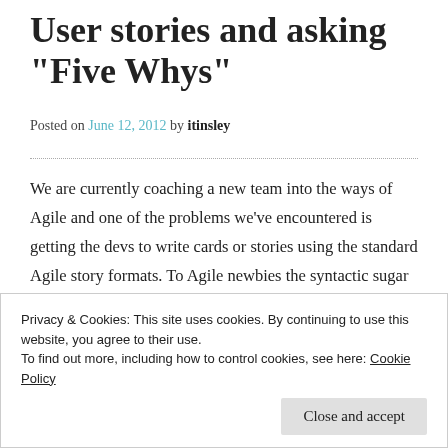User stories and asking “Five Whys”
Posted on June 12, 2012 by itinsley
We are currently coaching a new team into the ways of Agile and one of the problems we’ve encountered is getting the devs to write cards or stories using the standard Agile story formats. To Agile newbies the syntactic sugar that surrounds a story’s details often seems like a waste of time. i.e. A developer knows exactly what he
Privacy & Cookies: This site uses cookies. By continuing to use this website, you agree to their use.
To find out more, including how to control cookies, see here: Cookie Policy